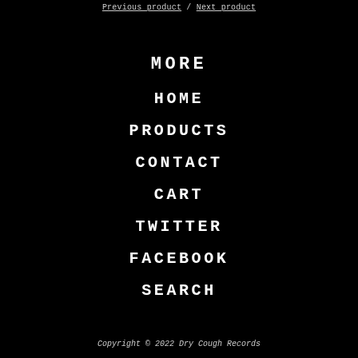Previous product / Next product
MORE
HOME
PRODUCTS
CONTACT
CART
TWITTER
FACEBOOK
SEARCH
Copyright © 2022 Dry Cough Records